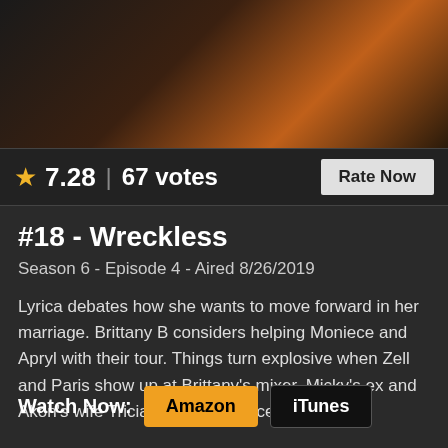[Figure (photo): Dark gradient banner with orange-brown tones at top of page]
★ 7.28 | 67 votes
Rate Now
#18 - Wreckless
Season 6 - Episode 4 - Aired 8/26/2019
Lyrica debates how she wants to move forward in her marriage. Brittany B considers helping Moniece and Apryl with their tour. Things turn explosive when Zell and Paris show up at Brittany's mixer. Micky's ex and Akon's wife Tricia Ana is introduced.
Watch Now: Amazon iTunes